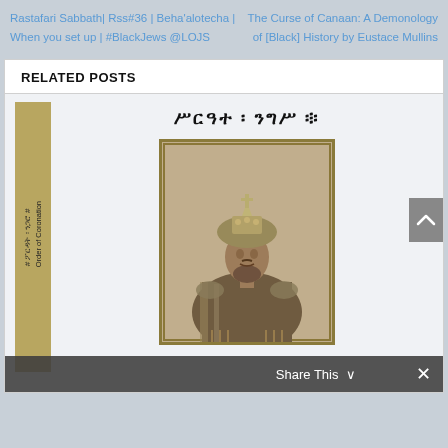Rastafari Sabbath| Rss#36 | Beha'alotecha | When you set up | #BlackJews @LOJS
The Curse of Canaan: A Demonology of [Black] History by Eustace Mullins
RELATED POSTS
[Figure (photo): Book cover showing an Ethiopian emperor (likely Haile Selassie) in coronation regalia with a crown, photographed in sepia/black-and-white. The book spine reads 'Order of Coronation' in vertical text with gold background. Ethiopic script title reads at top.]
Share This ∨
✕